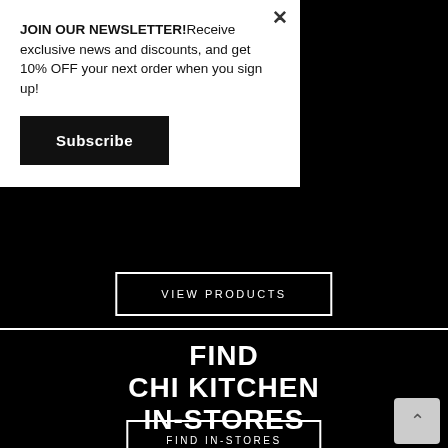JOIN OUR NEWSLETTER!Receive exclusive news and discounts, and get 10% OFF your next order when you sign up!
Subscribe
VIEW PRODUCTS
FIND CHI KITCHEN IN-STORES
FIND IN-STORES